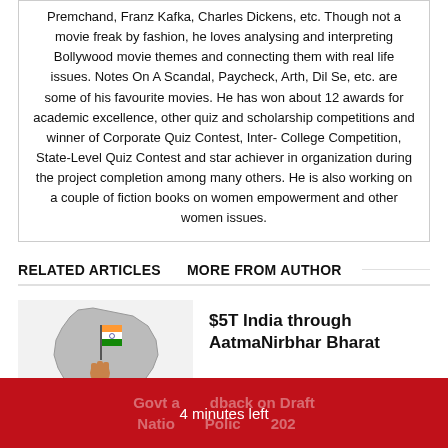Premchand, Franz Kafka, Charles Dickens, etc. Though not a movie freak by fashion, he loves analysing and interpreting Bollywood movie themes and connecting them with real life issues. Notes On A Scandal, Paycheck, Arth, Dil Se, etc. are some of his favourite movies. He has won about 12 awards for academic excellence, other quiz and scholarship competitions and winner of Corporate Quiz Contest, Inter- College Competition, State-Level Quiz Contest and star achiever in organization during the project completion among many others. He is also working on a couple of fiction books on women empowerment and other women issues.
RELATED ARTICLES   MORE FROM AUTHOR
[Figure (illustration): Map of India silhouette with a raised fist holding a flag in the center, labeled 'India' in the bottom left corner]
$5T India through AatmaNirbhar Bharat
Govt a... dback on Draft Natio... Polic... 202...